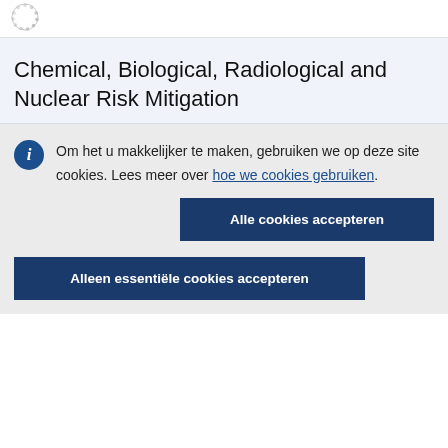[Figure (logo): EU circular stars logo (loading spinner style) in top-left corner]
Chemical, Biological, Radiological and Nuclear Risk Mitigation
Om het u makkelijker te maken, gebruiken we op deze site cookies. Lees meer over hoe we cookies gebruiken.
Alle cookies accepteren
Alleen essentiële cookies accepteren